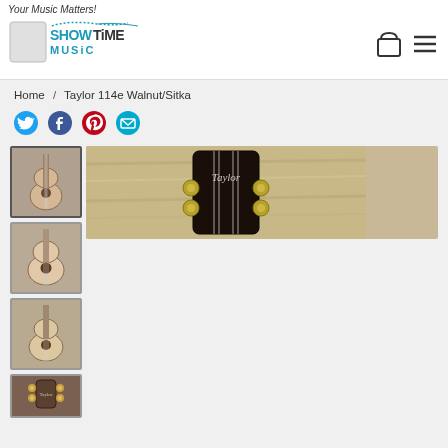Your Music Matters!
[Figure (logo): Showtime Music logo in teal/blue with guitar silhouette]
Home / Taylor 114e Walnut/Sitka
[Figure (other): Social share icons: Twitter, Facebook, Pinterest, Email]
[Figure (photo): Thumbnail 1: Taylor acoustic guitar full body]
[Figure (photo): Thumbnail 2: Taylor acoustic guitar body front]
[Figure (photo): Thumbnail 3: Taylor acoustic guitar body front alternate]
[Figure (photo): Thumbnail 4: Taylor guitar headstock detail]
[Figure (photo): Main image: Taylor guitar headstock close-up on wood surface background]